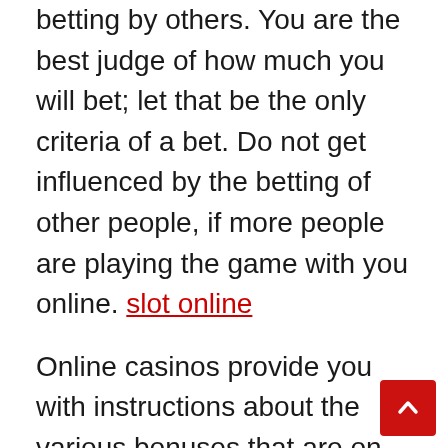betting by others. You are the best judge of how much you will bet; let that be the only criteria of a bet. Do not get influenced by the betting of other people, if more people are playing the game with you online. slot online
Online casinos provide you with instructions about the various bonuses that are on offer. It could be a sign-up bonus, which enables you to start playing online casino after you have met the deposit requirements. It could be cashable bonuses which can be encashed along with your winning money. It can be the opposite as well, called ‘sticky bonuses’. These cannot be encashed; it is deducted from your winning amount. Be sure to read and follow all bonus requirements. Some have restrictions for game